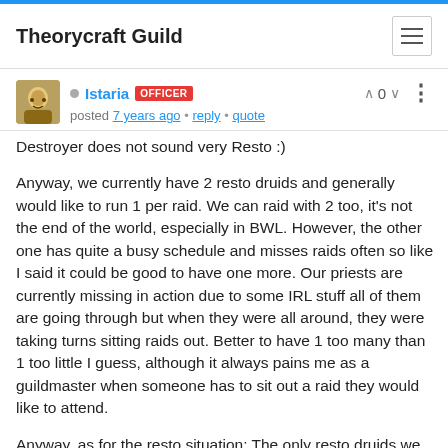Theorycraft Guild
Istaria OFFICER posted 7 years ago · reply · quote
Destroyer does not sound very Resto :)
Anyway, we currently have 2 resto druids and generally would like to run 1 per raid. We can raid with 2 too, it's not the end of the world, especially in BWL. However, the other one has quite a busy schedule and misses raids often so like I said it could be good to have one more. Our priests are currently missing in action due to some IRL stuff all of them are going through but when they were all around, they were taking turns sitting raids out. Better to have 1 too many than 1 too little I guess, although it always pains me as a guildmaster when someone has to sit out a raid they would like to attend.
Anyway, as for the resto situation; The only resto druids we have don't really need almost any loot anymore and even our feral druids have quite a bit of healing gear (they could still use some upgrades